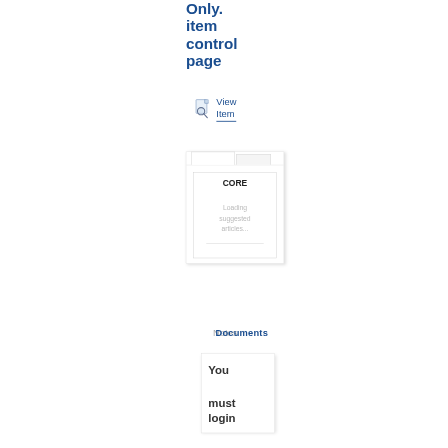Only. item control page
[Figure (screenshot): View Item icon - document with magnifying glass, followed by text 'View Item' with blue underline]
[Figure (screenshot): CORE card widget showing 'CORE' header and 'Loading suggested articles...' text with a horizontal rule]
Notes
Documents
You must login